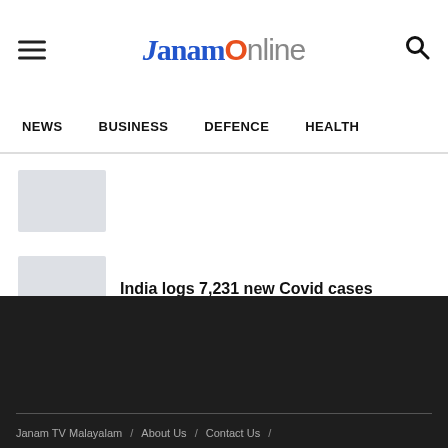JanamOnline
NEWS  BUSINESS  DEFENCE  HEALTH
[Figure (photo): Small thumbnail image placeholder (light gray rectangle)]
[Figure (photo): Small thumbnail image placeholder (light gray rectangle)]
India logs 7,231 new Covid cases
Janam TV Malayalam / About Us / Contact Us /